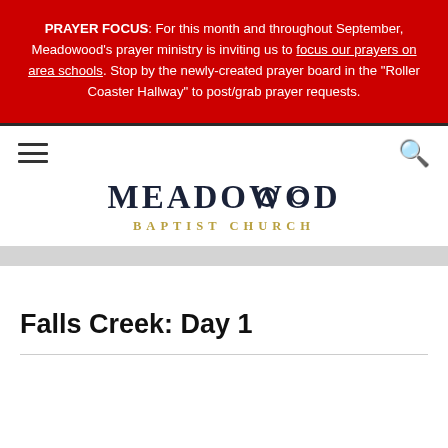PRAYER FOCUS: For this month and throughout September, Meadowood's prayer ministry is inviting us to focus our prayers on area schools. Stop by the newly-created prayer board in the "Roller Coaster Hallway" to post/grab prayer requests.
[Figure (logo): Meadowood Baptist Church logo with hamburger menu icon on left and search icon on right]
Falls Creek: Day 1